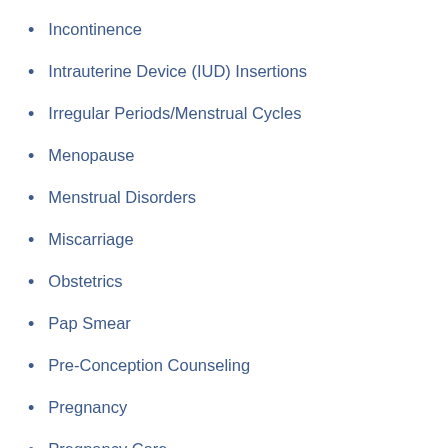Incontinence
Intrauterine Device (IUD) Insertions
Irregular Periods/Menstrual Cycles
Menopause
Menstrual Disorders
Miscarriage
Obstetrics
Pap Smear
Pre-Conception Counseling
Pregnancy
Pregnancy Care
Routine Care (partial)